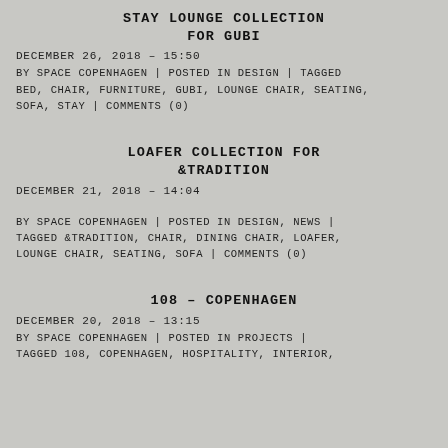STAY LOUNGE COLLECTION FOR GUBI
DECEMBER 26, 2018 – 15:50
BY SPACE COPENHAGEN | POSTED IN DESIGN | TAGGED BED, CHAIR, FURNITURE, GUBI, LOUNGE CHAIR, SEATING, SOFA, STAY | COMMENTS (0)
LOAFER COLLECTION FOR &TRADITION
DECEMBER 21, 2018 – 14:04
BY SPACE COPENHAGEN | POSTED IN DESIGN, NEWS | TAGGED &TRADITION, CHAIR, DINING CHAIR, LOAFER, LOUNGE CHAIR, SEATING, SOFA | COMMENTS (0)
108 – COPENHAGEN
DECEMBER 20, 2018 – 13:15
BY SPACE COPENHAGEN | POSTED IN PROJECTS | TAGGED 108, COPENHAGEN, HOSPITALITY, INTERIOR,